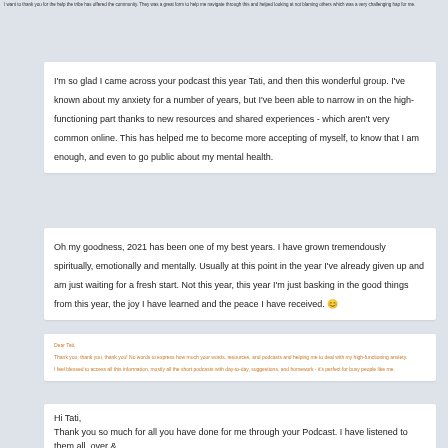I want to thank you for the help the tribe has offered the community. They was a great form to help me navigate through this and helped looking at not blaming others which was a very challenging hap for me.
I'm so glad I came across your podcast this year Tati, and then this wonderful group. I've known about my anxiety for a number of years, but I've been able to narrow in on the high-functioning part thanks to new resources and shared experiences - which aren't very common online. This has helped me to become more accepting of myself, to know that I am enough, and even to go public about my mental health.
Oh my goodness, 2021 has been one of my best years. I have grown tremendously spiritually, emotionally and mentally. Usually at this point in the year I've already given up and am just waiting for a fresh start. Not this year, this year I'm just basking in the good things from this year, the joy I have learned and the peace I have received. 😊
Dear Tati,

Thank you, thank you, thank you! No words to express how much your words, resources, and podcasts and helping me to deal with my high-functioning anxiety.

I feel blessed to access all this information, mostly all the short podcasts with day-to-day, suggestions, and homework - it's perfect for busy people like me.
Hi Tati,
Thank you so much for all you have done for me through your Podcast. I have listened to them all, over &